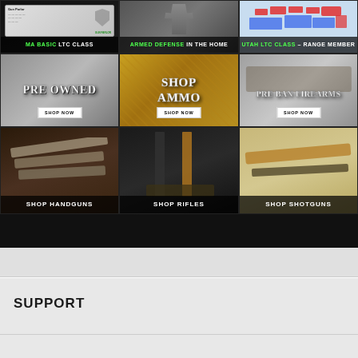[Figure (screenshot): 3x3 grid of product/class tiles: Row 1: MA BASIC LTC CLASS, ARMED DEFENSE IN THE HOME, UTAH LTC CLASS - RANGE MEMBER. Row 2: PRE OWNED (shop now), SHOP AMMO (shop now), PRE BAN FIREARMS (shop now). Row 3: SHOP HANDGUNS, SHOP RIFLES, SHOP SHOTGUNS.]
SUPPORT